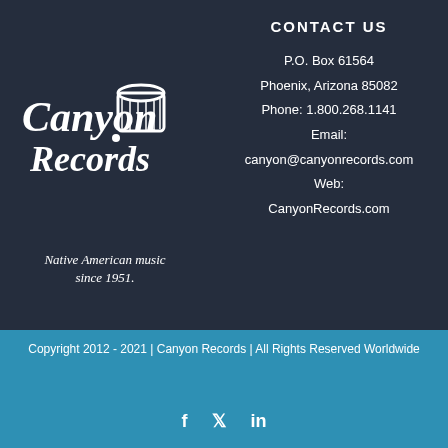[Figure (logo): Canyon Records logo with drum illustration and text 'Native American music since 1951.']
CONTACT US
P.O. Box 61564
Phoenix, Arizona 85082
Phone: 1.800.268.1141
Email:
canyon@canyonrecords.com
Web:
CanyonRecords.com
Copyright 2012 - 2021 | Canyon Records | All Rights Reserved Worldwide